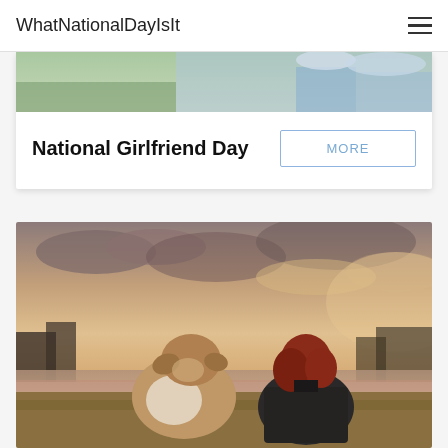WhatNationalDayIsIt
[Figure (photo): Partial photo of two people, cropped at top of card]
National Girlfriend Day
MORE
[Figure (photo): A red-haired woman and a bulldog sitting side by side on grass, viewed from behind, facing a lake at sunset with dramatic cloudy sky and trees in background]